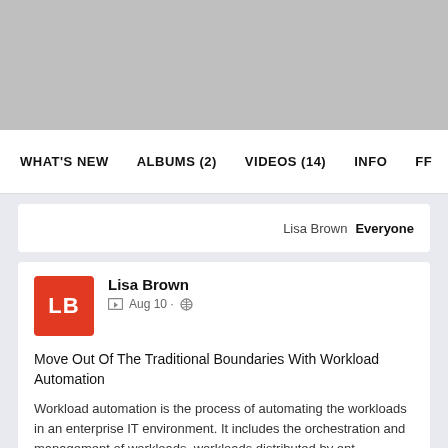[Figure (photo): Gray banner image placeholder at the top of a social media profile page]
WHAT'S NEW   ALBUMS (2)   VIDEOS (14)   INFO   FF
Lisa Brown  Everyone
Lisa Brown
Aug 10 · [globe icon]
Move Out Of The Traditional Boundaries With Workload Automation
Workload automation is the process of automating the workloads in an enterprise IT environment. It includes the orchestration and management of workloads, workloads distributed by ent...